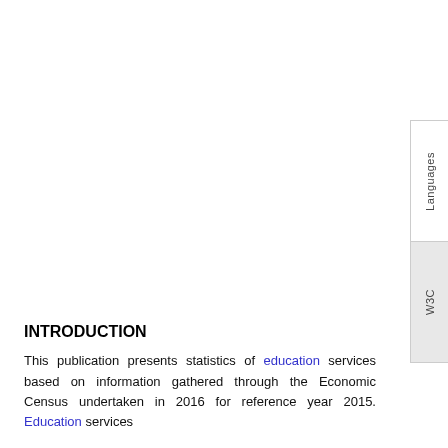INTRODUCTION
This publication presents statistics of education services based on information gathered through the Economic Census undertaken in 2016 for reference year 2015. Education services